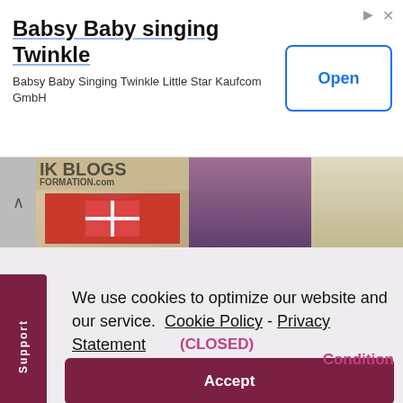[Figure (screenshot): Advertisement banner for 'Babsy Baby singing Twinkle' app by Kaufcom GmbH with Open button]
Babsy Baby singing Twinkle
Babsy Baby Singing Twinkle Little Star Kaufcom GmbH
[Figure (photo): Horizontal image strip showing partial images of blogs/information site, wrapped gift box, woman portrait, and coconut drink]
We use cookies to optimize our website and our service.  Cookie Policy -  Privacy Statement
Accept
(CLOSED)
Condition